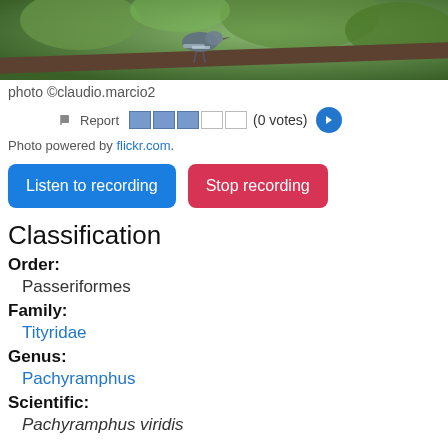[Figure (photo): Close-up photo of a bird perched on a branch with green foliage in background]
photo ©claudio.marcio2
Report (0 votes)
Photo powered by flickr.com.
Listen to recording  Stop recording
Classification
Order: Passeriformes
Family: Tityridae
Genus: Pachyramphus
Scientific: Pachyramphus viridis